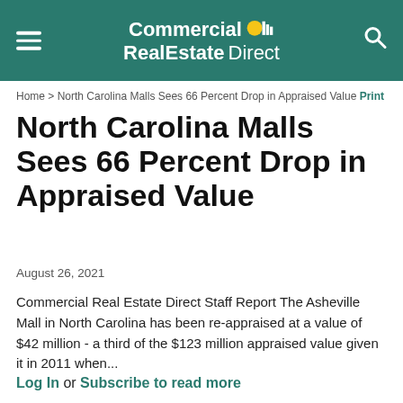Commercial RealEstate Direct
Home > North Carolina Malls Sees 66 Percent Drop in Appraised Value Print
North Carolina Malls Sees 66 Percent Drop in Appraised Value
August 26, 2021
Commercial Real Estate Direct Staff Report The Asheville Mall in North Carolina has been re-appraised at a value of $42 million - a third of the $123 million appraised value given it in 2011 when...
Log In or Subscribe to read more